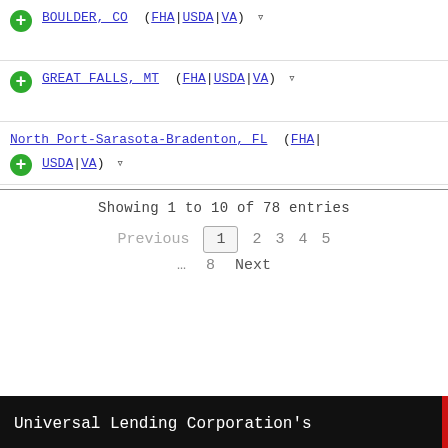BOULDER, CO (FHA|USDA|VA) [filter icon]
GREAT FALLS, MT (FHA|USDA|VA) [filter icon]
North Port-Sarasota-Bradenton, FL (FHA|USDA|VA) [filter icon]
Showing 1 to 10 of 78 entries
Previous  1  2  3  4  5  …  8  Next
Universal Lending Corporation's